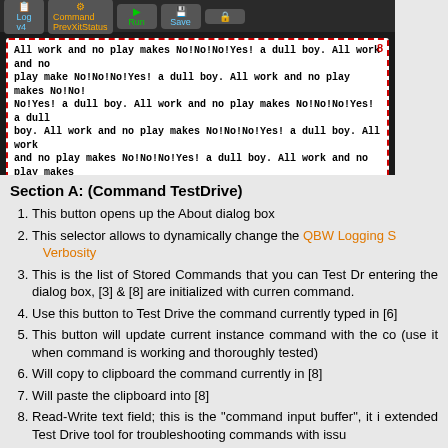[Figure (screenshot): Screenshot of a command TestDrive dialog interface with toolbar buttons (log v4, Command/PrevXitStatus, Run, Save), a text area (box 8) showing repeated text 'All work and no play makes No!No!No!Yes! a dull boy.' and a placeholder area (box 9) labeled 'Exit Status & Command RAW Output will be displayed HERE']
Section A: (Command TestDrive)
This button opens up the About dialog box
This selector allows to dynamically change the QBW Logging S Verbosity
This is the list of Stored Commands that you can Test Dr entering the dialog box, [3] & [8] are initialized with curren command.
Use this button to Test Drive the command currently typed in [6]
This button will update current instance command with the co (use it when command is working and thoroughly tested)
Will copy to clipboard the command currently in [8]
Will paste the clipboard into [8]
Read-Write text field; this is the "command input buffer", it i extended Test Drive tool for troubleshooting commands with issu
Read-Only text field; will display the Exit Status & Raw Ou